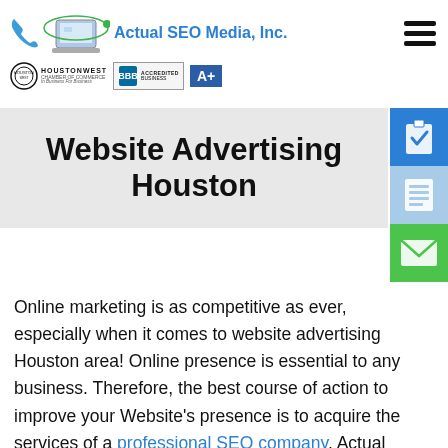[Figure (logo): Actual SEO Media, Inc. logo with laptop graphic, phone icon, Houston West Chamber of Commerce badge, and BBB Accredited Business A+ badge]
Website Advertising Houston
[Figure (infographic): Three side icons: blue clipboard with checkmark, light blue document list, green envelope]
Online marketing is as competitive as ever, especially when it comes to website advertising Houston area! Online presence is essential to any business. Therefore, the best course of action to improve your Website's presence is to acquire the services of a professional SEO company. Actual